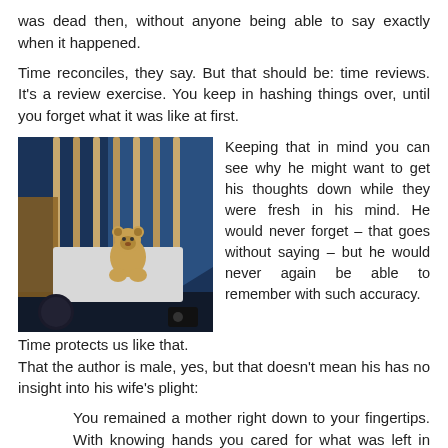was dead then, without anyone being able to say exactly when it happened.
Time reconciles, they say. But that should be: time reviews. It's a review exercise. You keep in hashing things over, until you forget what it was like at first.
[Figure (photo): A dark photograph of a baby crib at night, with crib bars visible and a stuffed animal bear visible inside, blue atmospheric lighting.]
Keeping that in mind you can see why he might want to get his thoughts down while they were fresh in his mind. He would never forget – that goes without saying – but he would never again be able to remember with such accuracy.
Time protects us like that.
That the author is male, yes, but that doesn't mean his has no insight into his wife's plight:
You remained a mother right down to your fingertips. With knowing hands you cared for what was left in the dented hospital cot: a doll